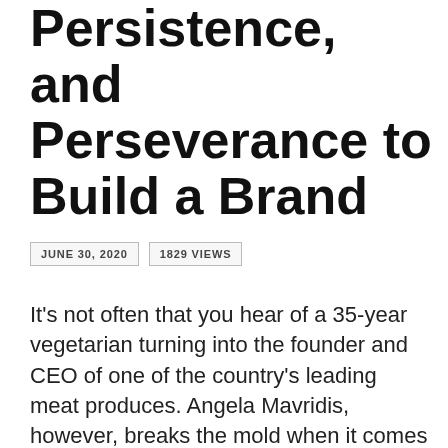Persistence, and Perseverance to Build a Brand
JUNE 30, 2020   1829 VIEWS
It's not often that you hear of a 35-year vegetarian turning into the founder and CEO of one of the country's leading meat produces. Angela Mavridis, however, breaks the mold when it comes to startup health food companies. Today, Tribalí Foods produces and distributes organic frozen burger patties of assorted creative flavors. They focus on using only single-sourced ingredients and have built a